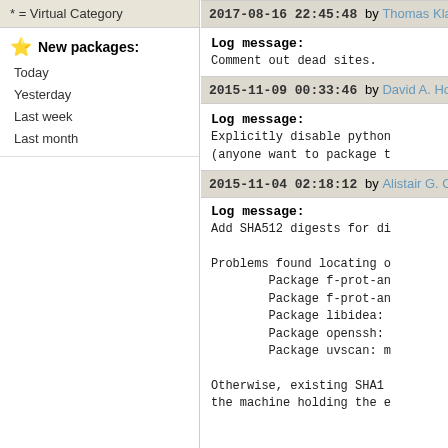* = Virtual Category
New packages:
Today
Yesterday
Last week
Last month
2017-08-16 22:45:48 by Thomas Kla...
Log message:
Comment out dead sites.
2015-11-09 00:33:46 by David A. Hol...
Log message:
Explicitly disable python
(anyone want to package t
2015-11-04 02:18:12 by Alistair G. Cr...
Log message:
Add SHA512 digests for di

Problems found locating o
        Package f-prot-an
        Package f-prot-an
        Package libidea:
        Package openssh:
        Package uvscan: m

Otherwise, existing SHA1
the machine holding the e